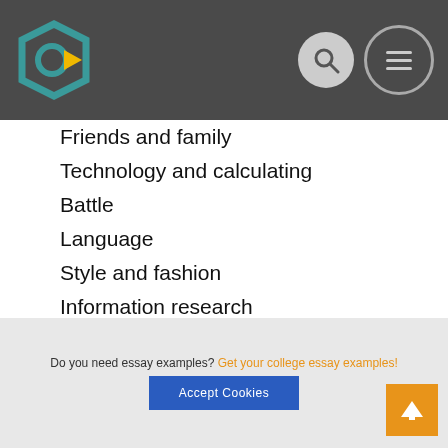[Figure (logo): Website logo with circular icon and navigation icons (search, menu)]
Friends and family
Technology and calculating
Battle
Language
Style and fashion
Information research
Government
Mathematics
Other
Legislation
Relatives
World
Do you need essay examples? Get your college essay examples!
Accept Cookies